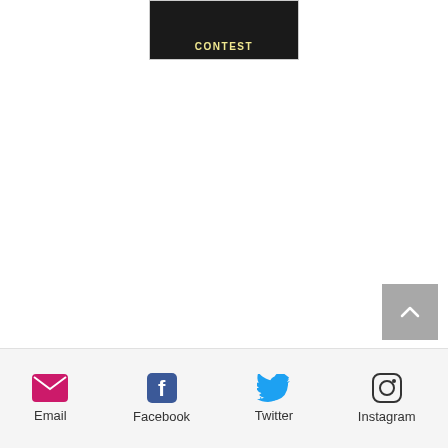[Figure (other): Contest banner image with dark background and 'CONTEST' text]
[Figure (other): Back to top button - gray square with upward chevron arrow]
Email  Facebook  Twitter  Instagram